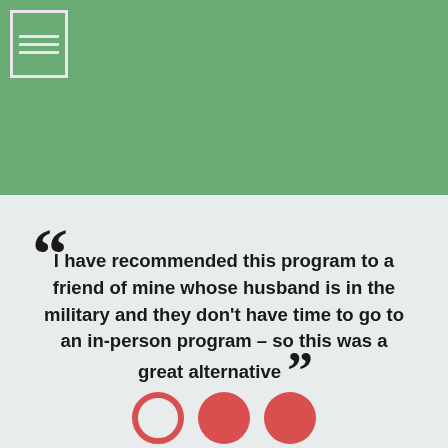[Figure (illustration): Green banner background at top of page with a document/table icon in the top-left corner (white outlined rectangle with three horizontal lines)]
I have recommended this program to a friend of mine whose husband is in the military and they don't have time to go to an in-person program – so this was a great alternative
[Figure (infographic): Three red circles in a row at the bottom: first is an outline circle, second is solid red, third is solid red]